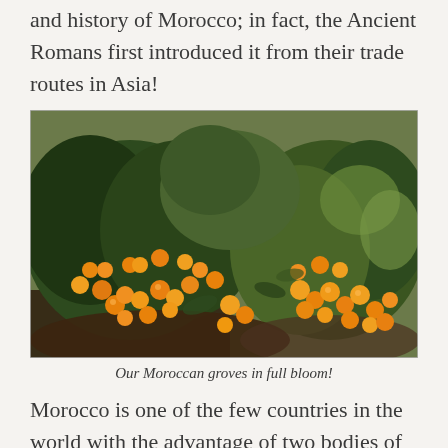and history of Morocco; in fact, the Ancient Romans first introduced it from their trade routes in Asia!
[Figure (photo): Photo of Moroccan orange grove trees heavily laden with oranges in full bloom, with dense green foliage and bright orange fruits visible throughout.]
Our Moroccan groves in full bloom!
Morocco is one of the few countries in the world with the advantage of two bodies of water: the Mediterranean Sea and the Atlantic Ocean. Together, these two create the ideal climate for